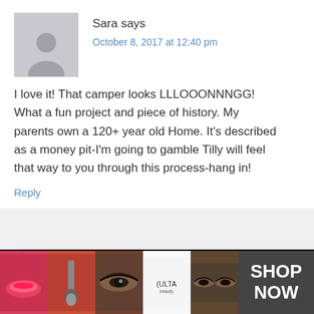Sara says
October 8, 2017 at 12:40 pm
I love it! That camper looks LLLOOONNNGG! What a fun project and piece of history. My parents own a 120+ year old Home. It's described as a money pit-I'm going to gamble Tilly will feel that way to you through this process-hang in!
Reply
Kristin says
CLOSE
[Figure (photo): Ulta beauty advertisement banner with makeup photos and SHOP NOW button]